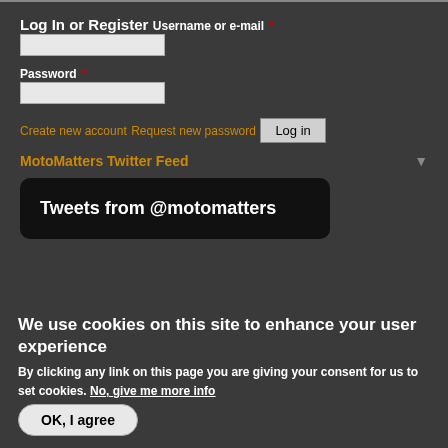Log In or Register
Username or e-mail *
Password *
Create new account
Request new password
Log in
MotoMatters Twitter Feed
[Figure (screenshot): Twitter embed box showing 'Tweets from @motomatters' on black rounded background]
We use cookies on this site to enhance your user experience
By clicking any link on this page you are giving your consent for us to set cookies. No, give me more info
OK, I agree